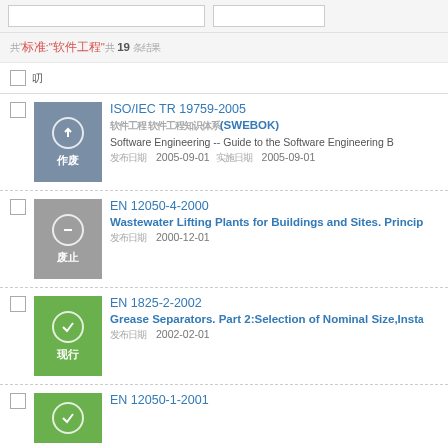Search interface with filter inputs
共"标准:"软件工程"共19条结果
全选 (select all checkbox)
ISO/IEC TR 19759-2005 | 软件工程 软件工程知识体系(SWEBOK) | Software Engineering -- Guide to the Software Engineering Body... | 发布日期2005-09-01 实施日期2005-09-01 | 状态: 作废
EN 12050-4-2000 | Wastewater Lifting Plants for Buildings and Sites. Princip... | 发布日期2000-12-01 | 状态: 废止
EN 1825-2-2002 | Grease Separators. Part 2:Selection of Nominal Size,Insta... | 发布日期2002-02-01 | 状态: 现行
EN 12050-1-2001 | 状态: 现行